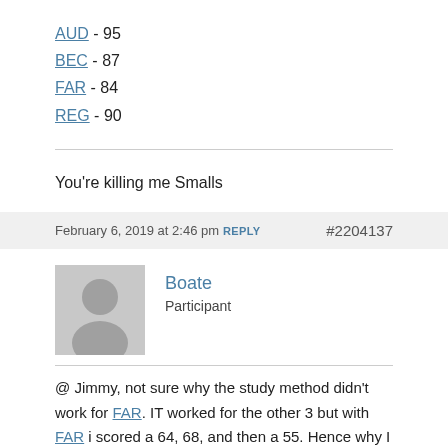AUD - 95
BEC - 87
FAR - 84
REG - 90
You're killing me Smalls
February 6, 2019 at 2:46 pm REPLY #2204137
Boate
Participant
@ Jimmy, not sure why the study method didn't work for FAR. IT worked for the other 3 but with FAR i scored a 64, 68, and then a 55. Hence why I took the break…. Maybe I just need a fresh start. I figure, if I passed the other 3 before, I can pass them again so I decided to go with FAR first so the clock doesn't start without me at least